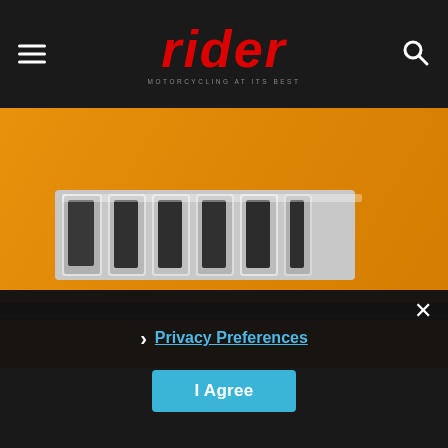rider — MOTORCYCLING AT ITS BEST
[Figure (photo): Close-up photograph of a yellow/orange Suzuki motorcycle tank with chrome SUZUKI lettering badge and a dark pinstripe accent line]
› Privacy Preferences
I Agree